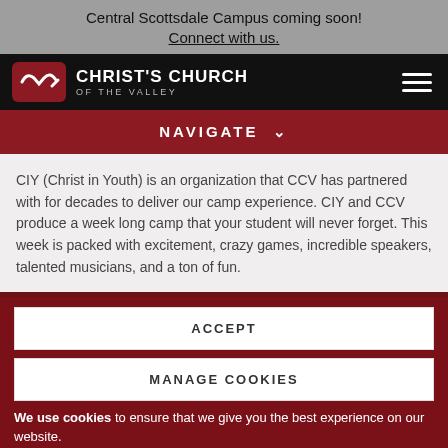Central Scottsdale Campus coming soon!
Connect with us.
[Figure (logo): Christ's Church of the Valley (CCV) logo with red rounded rectangle icon and white text on black navigation bar]
NAVIGATE
CIY (Christ in Youth) is an organization that CCV has partnered with for decades to deliver our camp experience. CIY and CCV produce a week long camp that your student will never forget. This week is packed with excitement, crazy games, incredible speakers, talented musicians, and a ton of fun.
ACCEPT
MANAGE COOKIES
We use cookies to ensure that we give you the best experience on our website.